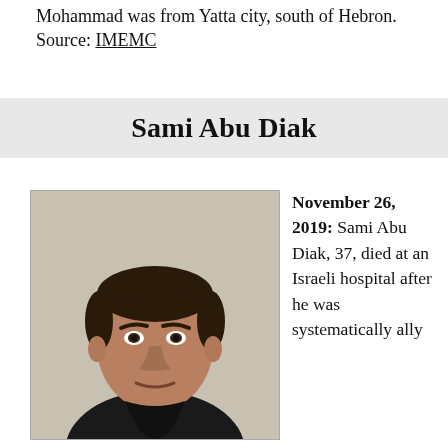Mohammad was from Yatta city, south of Hebron. Source: IMEMC
Sami Abu Diak
[Figure (photo): Portrait photograph of Sami Abu Diak, a man wearing a dark shirt, with short dark hair, against a light background.]
November 26, 2019: Sami Abu Diak, 37, died at an Israeli hospital after he was systematically